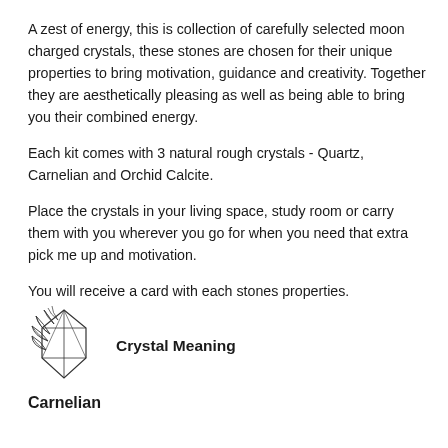A zest of energy, this is collection of carefully selected moon charged crystals, these stones are chosen for their unique properties to bring motivation, guidance and creativity. Together they are aesthetically pleasing as well as being able to bring you their combined energy.
Each kit comes with 3 natural rough crystals - Quartz, Carnelian and Orchid Calcite.
Place the crystals in your living space, study room or carry them with you wherever you go for when you need that extra pick me up and motivation.
You will receive a card with each stones properties.
[Figure (illustration): Line drawing illustration of a geometric crystal with leaves/botanicals]
Crystal Meaning
Carnelian